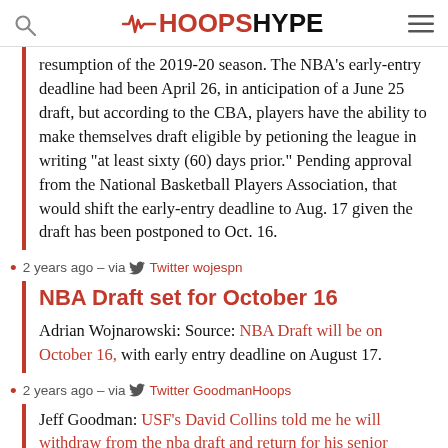HOOPSHYPE
resumption of the 2019-20 season. The NBA's early-entry deadline had been April 26, in anticipation of a June 25 draft, but according to the CBA, players have the ability to make themselves draft eligible by petioning the league in writing "at least sixty (60) days prior." Pending approval from the National Basketball Players Association, that would shift the early-entry deadline to Aug. 17 given the draft has been postponed to Oct. 16.
2 years ago – via Twitter wojespn
NBA Draft set for October 16
Adrian Wojnarowski: Source: NBA Draft will be on October 16, with early entry deadline on August 17.
2 years ago – via Twitter GoodmanHoops
Jeff Goodman: USF's David Collins told me he will withdraw from the nba draft and return for his senior